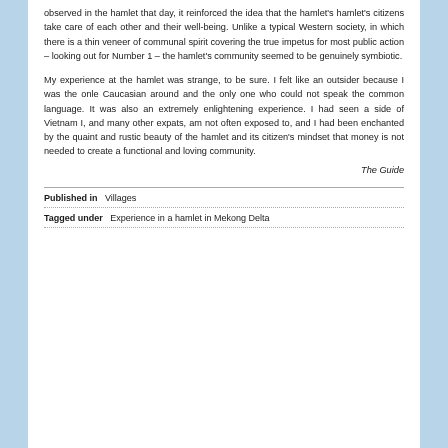observed in the hamlet that day, it reinforced the idea that the hamlet's hamlet's citizens take care of each other and their well-being. Unlike a typical Western society, in which there is a thin veneer of communal spirit covering the true impetus for most public action – looking out for Number 1 – the hamlet's community seemed to be genuinely symbiotic.
My experience at the hamlet was strange, to be sure. I felt like an outsider because I was the onle Caucasian around and the only one who could not speak the common language. It was also an extremely enlightening experience. I had seen a side of Vietnam I, and many other expats, am not often exposed to, and I had been enchanted by the quaint and rustic beauty of the hamlet and its citizen's mindset that money is not needed to create a functional and loving community.
The Guide
Published in  Villages
Tagged under  Experience in a hamlet in Mekong Delta